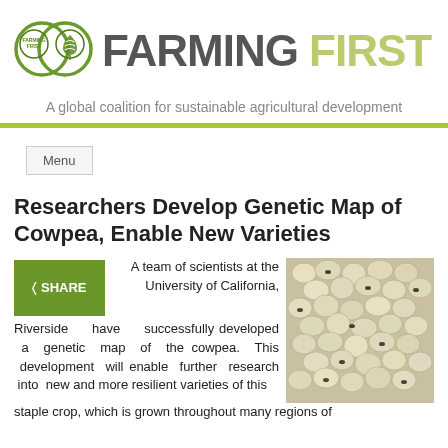[Figure (logo): Farming First logo with infinity symbol and wheat/leaf icon]
FARMING FIRST
A global coalition for sustainable agricultural development
Menu
Researchers Develop Genetic Map of Cowpea, Enable New Varieties
SHARE
[Figure (photo): Close-up photograph of cowpea seeds, white/cream colored with black eye markings]
A team of scientists at the University of California, Riverside have successfully developed a genetic map of the cowpea. This development will enable further research into new and more resilient varieties of this staple crop, which is grown throughout many regions of